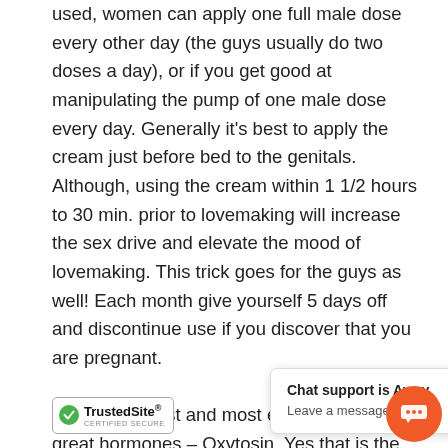used, women can apply one full male dose every other day (the guys usually do two doses a day), or if you get good at manipulating the pump of one male dose every day. Generally it's best to apply the cream just before bed to the genitals. Although, using the cream within 1 1/2 hours to 30 min. prior to lovemaking will increase the sex drive and elevate the mood of lovemaking. This trick goes for the guys as well! Each month give yourself 5 days off and discontinue use if you discover that you are pregnant.

Now for the last and most elusive of the feel great hormones – Oxytosin. Yes that is the hormone that causes the contractions during labor and expels milk during breast feeding. Oxytosin is the thing responsible for making new mom... h a... feel o... ib... r. M...
[Figure (other): Chat support popup showing 'Chat support is Away' and 'Leave a message', with an orange chat icon button, and a TrustedSite Certified Secure badge.]